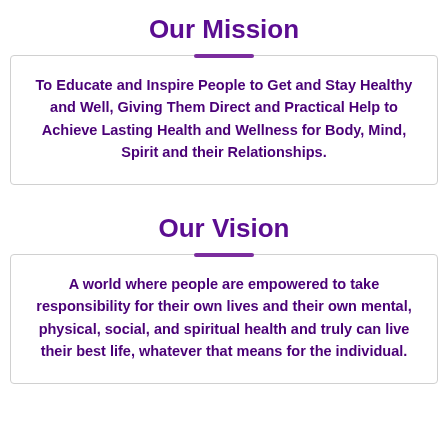Our Mission
To Educate and Inspire People to Get and Stay Healthy and Well, Giving Them Direct and Practical Help to Achieve Lasting Health and Wellness for Body, Mind, Spirit and their Relationships.
Our Vision
A world where people are empowered to take responsibility for their own lives and their own mental, physical, social, and spiritual health and truly can live their best life, whatever that means for the individual.